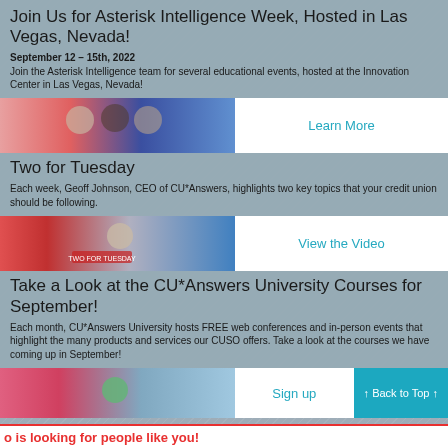Join Us for Asterisk Intelligence Week, Hosted in Las Vegas, Nevada!
September 12 – 15th, 2022
Join the Asterisk Intelligence team for several educational events, hosted at the Innovation Center in Las Vegas, Nevada!
[Figure (photo): Group of people talking with blue and pink background gradient; 'Learn More' link to the right]
Two for Tuesday
Each week, Geoff Johnson, CEO of CU*Answers, highlights two key topics that your credit union should be following.
[Figure (photo): Person with red banner and blue background; 'View the Video' link to the right]
Take a Look at the CU*Answers University Courses for September!
Each month, CU*Answers University hosts FREE web conferences and in-person events that highlight the many products and services our CUSO offers. Take a look at the courses we have coming up in September!
[Figure (photo): Person smiling with pink to blue gradient background; 'Sign up' link and 'Back to Top' button to the right]
o is looking for people like you!